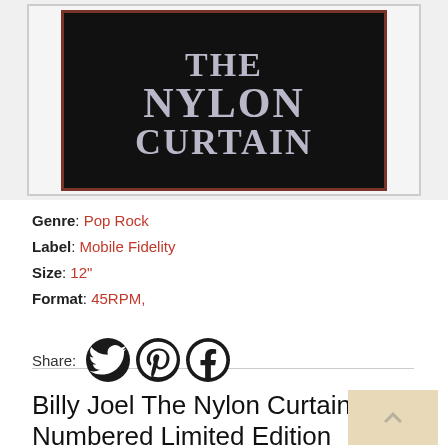[Figure (photo): Album cover for Billy Joel The Nylon Curtain showing white serif text 'THE NYLON CURTAIN' on a black background with a dark reddish-brown border, set within a light gray outer frame.]
Genre: Pop Rock
Label: Mobile Fidelity
Size: 12"
Format: 45RPM,
Share: [Twitter] [Pinterest] [Facebook]
Billy Joel The Nylon Curtain Numbered Limited Edition 180g 45rpm 2LP